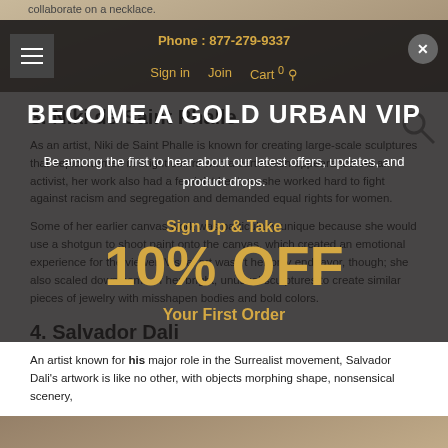collaborate on a necklace.
Phone : 877-279-9337  Sign in  Join  Cart 0
[Figure (screenshot): Website screenshot with dark navigation bar, VIP signup popup overlay showing 'BECOME A GOLD URBAN VIP', '10% OFF Your First Order', and article content about Niki de Saint Phalle and Salvador Dali below]
BECOME A GOLD URBAN VIP
Be among the first to hear about our latest offers, updates, and product drops.
Sign Up & Take
10% OFF
Your First Order
3. Niki de Saint Phalle
As an artist, Niki de Saint Phalle is known for creating large-scale sculptures that depict women in bright colors with a cartoonish appearance. As an activist, her work also had a feminist bent, as she worked hard to fight against racism and segregation and demanded equal rights for women.
Some of her earlier canvas work was particularly unique because she would use a shotgun to shoot paint onto the canvas, which created an emotional experience for the viewer. Visual art wasn't her only endeavor, though; she also scaled down some of her bright, unusual sculptures to create similar pieces of jewelry with misshapen bodies and bold colors.
4. Salvador Dali
An artist known for his major role in the Surrealist movement, Salvador Dali's artwork is like no other, with objects morphing shape, nonsensical scenery,